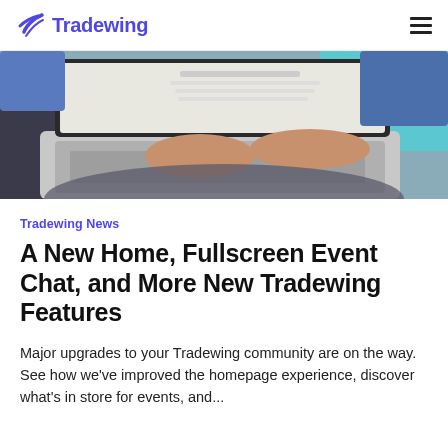Tradewing
[Figure (photo): Person typing on a MacBook laptop, viewed from above and behind, with a turquoise/blue background visible behind the screen]
Tradewing News
A New Home, Fullscreen Event Chat, and More New Tradewing Features
Major upgrades to your Tradewing community are on the way. See how we've improved the homepage experience, discover what's in store for events, and...